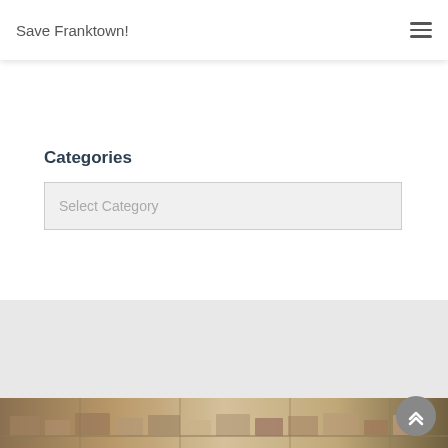Save Franktown!
Categories
Select Category
Related Posts
[Figure (photo): Aerial photograph of a suburban housing development with streets and houses visible from above]